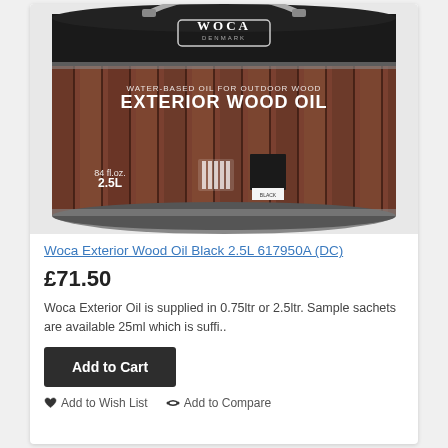[Figure (photo): WOCA Exterior Wood Oil Black 2.5L tin/bucket. Black lid with WOCA Denmark logo. Label shows 'WATER-BASED OIL FOR OUTDOOR WOOD EXTERIOR WOOD OIL' text over wood decking background in brown tones. Shows 2.5L volume marking and color swatch.]
Woca Exterior Wood Oil Black 2.5L 617950A (DC)
£71.50
Woca Exterior Oil is supplied in 0.75ltr or 2.5ltr. Sample sachets are available 25ml which is suffi..
Add to Cart
Add to Wish List   Add to Compare